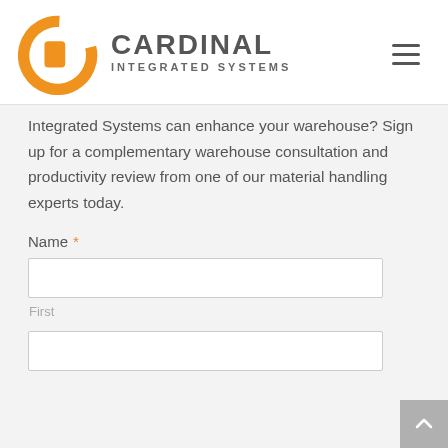[Figure (logo): Cardinal Integrated Systems logo with orange C-shaped circle and gray text]
Integrated Systems can enhance your warehouse? Sign up for a complementary warehouse consultation and productivity review from one of our material handling experts today.
Name *
First